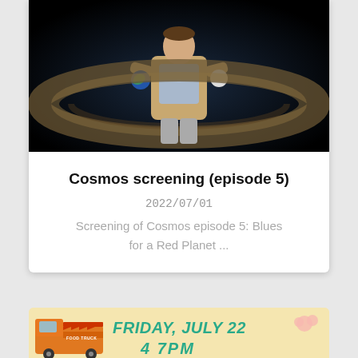[Figure (photo): Person standing in front of a planetary display with Saturn rings in the background, holding model planets in each hand. Dark background with blue/black tones.]
Cosmos screening (episode 5)
2022/07/01
Screening of Cosmos episode 5: Blues for a Red Planet ...
[Figure (illustration): Food truck illustration with text FRIDAY, JULY 22 and partial time visible, on a yellow/cream background.]